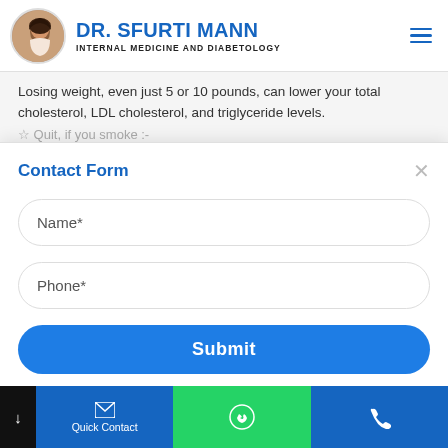DR. SFURTI MANN — INTERNAL MEDICINE AND DIABETOLOGY
Losing weight, even just 5 or 10 pounds, can lower your total cholesterol, LDL cholesterol, and triglyceride levels.
☆ Quit, if you smoke :-
Contact Form
Name*
Phone*
Submit
Quick Contact | WhatsApp | Call